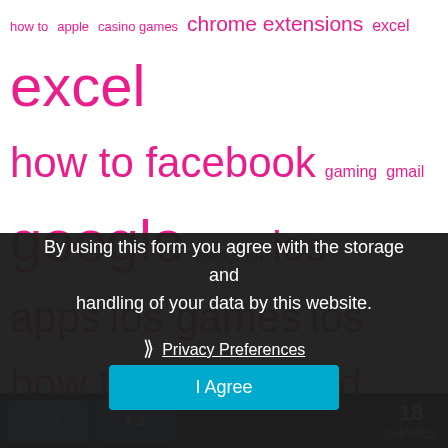[Figure (other): Tag cloud with technology-related terms in pink/magenta at varying font sizes: how to, apple, casino games, chrome extensions, excel (repeated large), how to facebook, gaming, gmail, google (large), instagram, ios, apps, ios games, ios how to, ios tips, ipad, iphone (very large), kids apps, learn excel, management, microsoft (large), music apps, new releases, outlook how to (large), photo apps, powerpoint, powerpoint how to, productivity, Samsung (very large), security, smartphone, smartphones, software (large), tablet, tablets, technology, tips, to, xbox, youtube]
By using this form you agree with the storage and handling of your data by this website.
❯ Privacy Preferences
I Agree